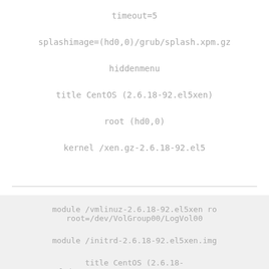timeout=5
splashimage=(hd0,0)/grub/splash.xpm.gz
hiddenmenu
title CentOS (2.6.18-92.el5xen)
root (hd0,0)
kernel /xen.gz-2.6.18-92.el5
module /vmlinuz-2.6.18-92.el5xen ro root=/dev/VolGroup00/LogVol00
module /initrd-2.6.18-92.el5xen.img
title CentOS (2.6.18-92.el5)   #xen
root (hd0,0)